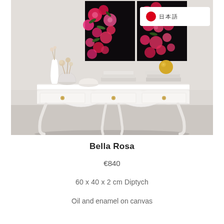[Figure (photo): Interior room photo showing a white French-style console table with three drawers and gold knobs, decorated with white ceramic vases, dried flowers, stacked books and a gold sphere ornament. Above the console table hangs a diptych painting of vibrant pink and red floral artwork. A language selector badge showing a Japanese flag icon and Japanese text is visible in the top right corner of the photo.]
Bella Rosa
€840
60 x 40 x 2 cm Diptych
Oil and enamel on canvas